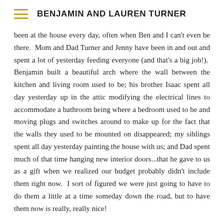BENJAMIN AND LAUREN TURNER
been at the house every day, often when Ben and I can't even be there.  Mom and Dad Turner and Jenny have been in and out and spent a lot of yesterday feeding everyone (and that's a big job!).  Benjamin built a beautiful arch where the wall between the kitchen and living room used to be; his brother Isaac spent all day yesterday up in the attic modifying the electrical lines to accommodate a bathroom being where a bedroom used to be and moving plugs and switches around to make up for the fact that the walls they used to be mounted on disappeared; my siblings spent all day yesterday painting the house with us; and Dad spent much of that time hanging new interior doors...that he gave to us as a gift when we realized our budget probably didn't include them right now.  I sort of figured we were just going to have to do them a little at a time someday down the road, but to have them now is really, really nice!